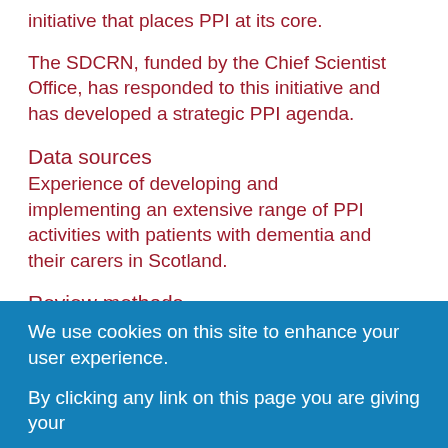initiative that places PPI at its core.
The SDCRN, funded by the Chief Scientist Office, has responded to this initiative and has developed a strategic PPI agenda.
Data sources
Experience of developing and implementing an extensive range of PPI activities with patients with dementia and their carers in Scotland.
Review methods
This is an informative paper.
Discussion
The paper discusses the strategy that the SDCRN
We use cookies on this site to enhance your user experience.
By clicking any link on this page you are giving your